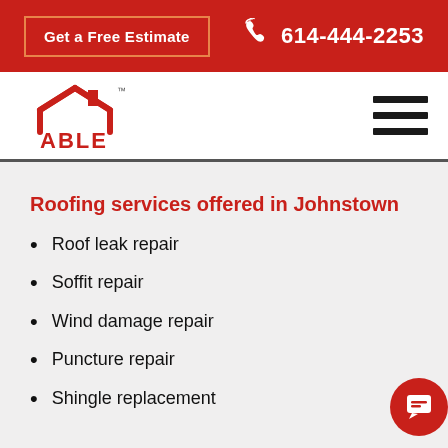Get a Free Estimate | 614-444-2253
[Figure (logo): ABLE roofing company logo with red house/roof icon and ABLE text below]
Roofing services offered in Johnstown
Roof leak repair
Soffit repair
Wind damage repair
Puncture repair
Shingle replacement (partial text visible)